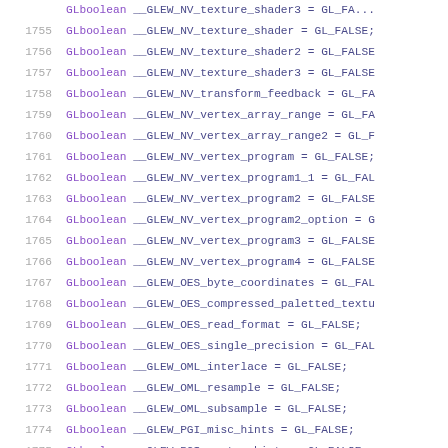Source code listing showing GLboolean variable declarations for GLEW extension flags, lines 1755-1775
1755    GLboolean __GLEW_NV_texture_shader = GL_FALSE;
1756    GLboolean __GLEW_NV_texture_shader2 = GL_FALSE
1757    GLboolean __GLEW_NV_texture_shader3 = GL_FALSE
1758    GLboolean __GLEW_NV_transform_feedback = GL_FA
1759    GLboolean __GLEW_NV_vertex_array_range = GL_FA
1760    GLboolean __GLEW_NV_vertex_array_range2 = GL_F
1761    GLboolean __GLEW_NV_vertex_program = GL_FALSE;
1762    GLboolean __GLEW_NV_vertex_program1_1 = GL_FAL
1763    GLboolean __GLEW_NV_vertex_program2 = GL_FALSE
1764    GLboolean __GLEW_NV_vertex_program2_option = G
1765    GLboolean __GLEW_NV_vertex_program3 = GL_FALSE
1766    GLboolean __GLEW_NV_vertex_program4 = GL_FALSE
1767    GLboolean __GLEW_OES_byte_coordinates = GL_FAL
1768    GLboolean __GLEW_OES_compressed_paletted_textu
1769    GLboolean __GLEW_OES_read_format = GL_FALSE;
1770    GLboolean __GLEW_OES_single_precision = GL_FAL
1771    GLboolean __GLEW_OML_interlace = GL_FALSE;
1772    GLboolean __GLEW_OML_resample = GL_FALSE;
1773    GLboolean __GLEW_OML_subsample = GL_FALSE;
1774    GLboolean __GLEW_PGI_misc_hints = GL_FALSE;
1775    GLboolean __GLEW_PGI_vertex_hints = GL_FALSE;